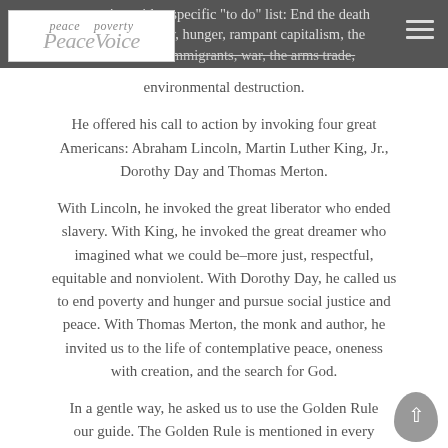to action with a specific "to do" list: End the death penalty, poverty, hunger, rampant capitalism, the exclusion of immigrants, war, the arms trade, environmental destruction.
[Figure (logo): PeaceVoice logo in italic serif font on white background]
He offered his call to action by invoking four great Americans: Abraham Lincoln, Martin Luther King, Jr., Dorothy Day and Thomas Merton.
With Lincoln, he invoked the great liberator who ended slavery. With King, he invoked the great dreamer who imagined what we could be–more just, respectful, equitable and nonviolent. With Dorothy Day, he called us to end poverty and hunger and pursue social justice and peace. With Thomas Merton, the monk and author, he invited us to the life of contemplative peace, oneness with creation, and the search for God.
In a gentle way, he asked us to use the Golden Rule as our guide. The Golden Rule is mentioned in every